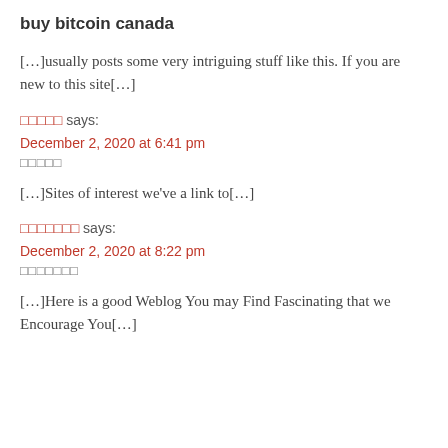buy bitcoin canada
[…]usually posts some very intriguing stuff like this. If you are new to this site[…]
ааааа says:
December 2, 2020 at 6:41 pm
ааааа
[…]Sites of interest we've a link to[…]
ааааааа says:
December 2, 2020 at 8:22 pm
ааааааа
[…]Here is a good Weblog You may Find Fascinating that we Encourage You[…]